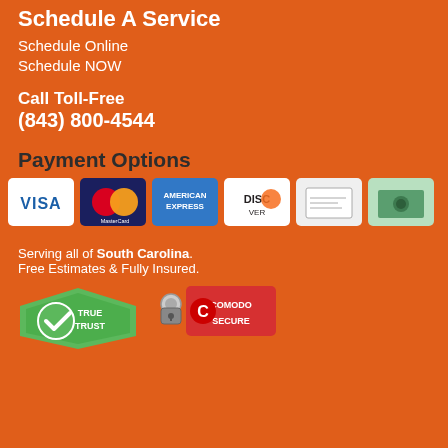Schedule A Service
Schedule Online
Schedule NOW
Call Toll-Free
(843) 800-4544
Payment Options
[Figure (illustration): Payment method icons: Visa, MasterCard, American Express, Discover, Check, Cash]
Serving all of South Carolina. Free Estimates & Fully Insured.
[Figure (logo): TrueTrust and Comodo Secure badge logos]